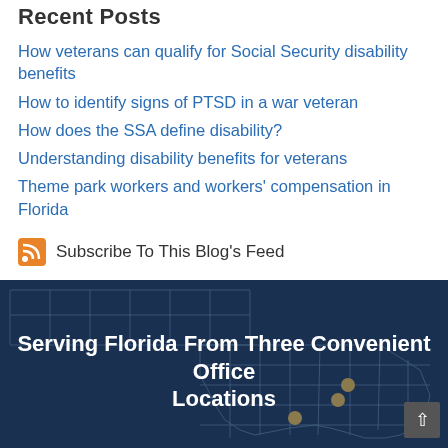Recent Posts
How veterans can qualify for Social Security disability benefits
How to identify signs of PTSD in a war veteran
How does the SSA define disability?
Understanding disability benefits for veterans
Theme park workers and workers' compensation in Florida
Subscribe To This Blog's Feed
[Figure (map): Map of Florida showing three office locations marked with gold dots, overlaid on a dark navy background. Title reads: Serving Florida From Three Convenient Office Locations.]